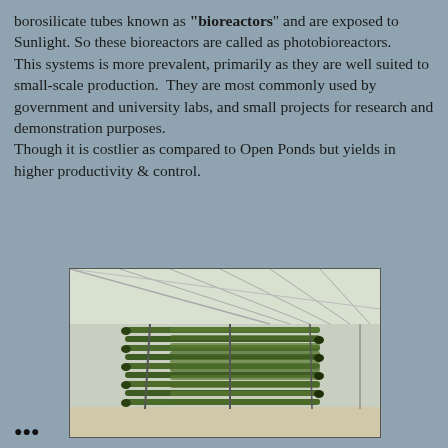borosilicate tubes known as "bioreactors" and are exposed to Sunlight. So these bioreactors are called as photobioreactors.
This systems is more prevalent, primarily as they are well suited to small-scale production.  They are most commonly used by government and university labs, and small projects for research and demonstration purposes.
Though it is costlier as compared to Open Ponds but yields in higher productivity & control.
[Figure (photo): Photograph of a photobioreactor system consisting of many parallel green tubes arranged in vertical panels inside a greenhouse with a glass roof structure.]